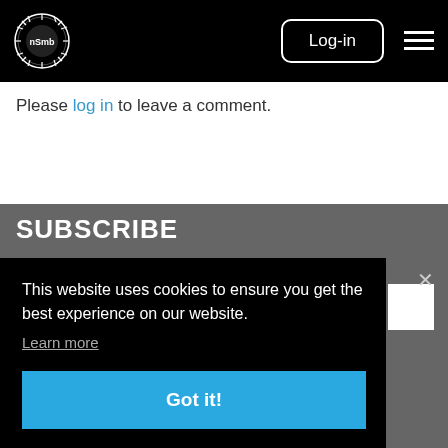nSMB logo | Log-in | Menu
Please log in to leave a comment.
SUBSCRIBE
This website uses cookies to ensure you get the best experience on our website.
Learn more
Got it!